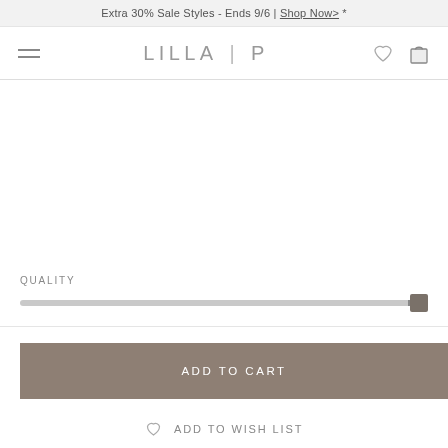Extra 30% Sale Styles - Ends 9/6 | Shop Now> *
LILLA | P
[Figure (other): Product image area (blank/white)]
QUALITY
ADD TO CART
ADD TO WISH LIST
SEND YOUR WISHLIST